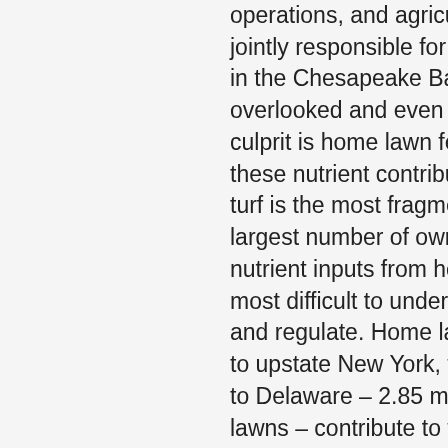operations, and agricultural fert jointly responsible for nutrient l in the Chesapeake Bay. An often overlooked and even less underst culprit is home lawn fertilization these nutrient contributors, resi turf is the most fragmented and largest number of owners, makin nutrient inputs from home lawn most difficult to understand, me and regulate. Home lawns from V to upstate New York, from West V to Delaware – 2.85 million acres c lawns – contribute to the nutrien loading that has so severely degr Chesapeake Bay's waters To bett understand all the factors affecti maintenance I take a holistic app and analyze the total ecology of issue, including the human, biop